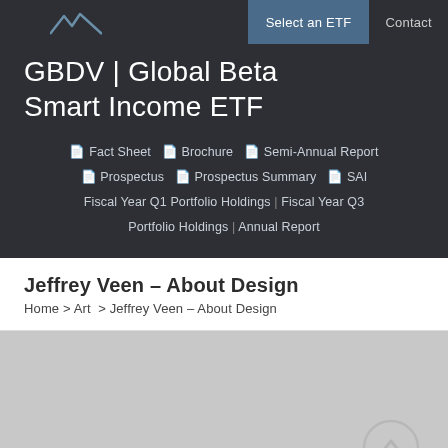Select an ETF   Contact
GBDV | Global Beta Smart Income ETF
Fact Sheet  Brochure  Semi-Annual Report  Prospectus  Prospectus Summary  SAI  Fiscal Year Q1 Portfolio Holdings | Fiscal Year Q3 Portfolio Holdings | Annual Report
Jeffrey Veen – About Design
Home > Art > Jeffrey Veen – About Design
[Figure (other): Gray placeholder area with a scroll-to-top circular arrow button in the bottom right corner]